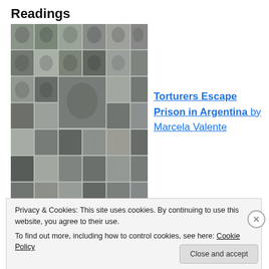Readings
[Figure (photo): A black and white collage of many portrait photos of different individuals, arranged in a grid pattern.]
Torturers Escape Prison in Argentina by Marcela Valente
Privacy & Cookies: This site uses cookies. By continuing to use this website, you agree to their use.
To find out more, including how to control cookies, see here: Cookie Policy
Close and accept